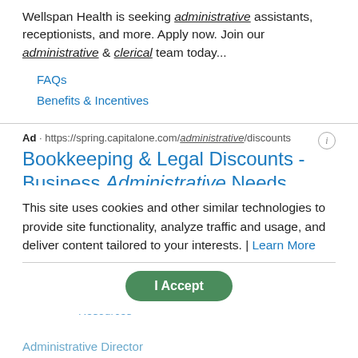Wellspan Health is seeking administrative assistants, receptionists, and more. Apply now. Join our administrative & clerical team today...
FAQs
Benefits & Incentives
Ad · https://spring.capitalone.com/administrative/discounts
Bookkeeping & Legal Discounts - Business Administrative Needs
Capital One Spring Provides Discounts On An Array Of Perks And Benefits To Help You Save. Find New Discounts To Save Time & Money...
How It Works
Start Saving
Resources
This site uses cookies and other similar technologies to provide site functionality, analyze traffic and usage, and deliver content tailored to your interests. | Learn More
Administrative Director